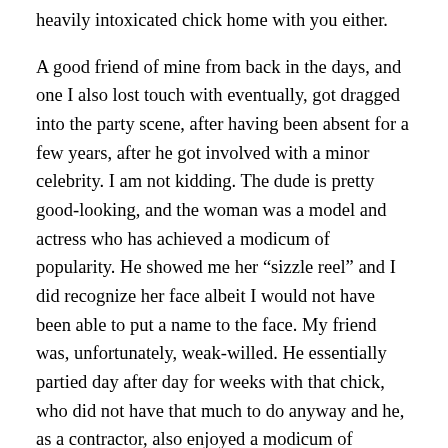heavily intoxicated chick home with you either.
A good friend of mine from back in the days, and one I also lost touch with eventually, got dragged into the party scene, after having been absent for a few years, after he got involved with a minor celebrity. I am not kidding. The dude is pretty good-looking, and the woman was a model and actress who has achieved a modicum of popularity. He showed me her “sizzle reel” and I did recognize her face albeit I would not have been able to put a name to the face. My friend was, unfortunately, weak-willed. He essentially partied day after day for weeks with that chick, who did not have that much to do anyway and he, as a contractor, also enjoyed a modicum of freedom. He claims that he spent over 15,000 Euros on drugs and that was because that girl’s circle habitually spent money, and some also apparently had bigger, and infrequent paydays that fueled their excesses. Probably,